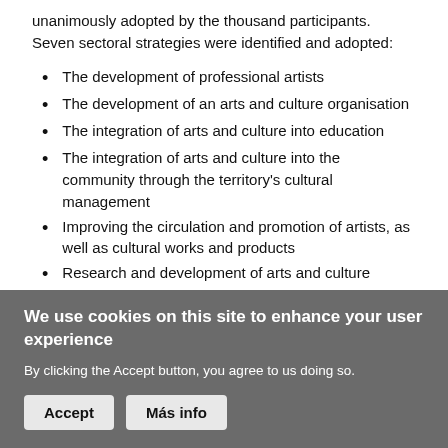unanimously adopted by the thousand participants. Seven sectoral strategies were identified and adopted:
The development of professional artists
The development of an arts and culture organisation
The integration of arts and culture into education
The integration of arts and culture into the community through the territory's cultural management
Improving the circulation and promotion of artists, as well as cultural works and products
Research and development of arts and culture
Improving the position and outreach of arts and culture
Since 2009, the sectoral strategies of this "national" cultural policy have guided French-speaking municipalities, civil society organisations, and government partners in their
We use cookies on this site to enhance your user experience

By clicking the Accept button, you agree to us doing so.

[Accept] [Más info]